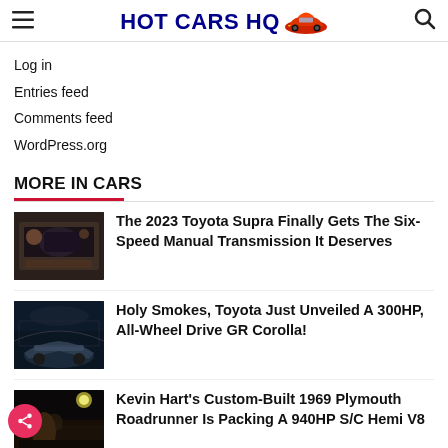HOT CARS HQ
Log in
Entries feed
Comments feed
WordPress.org
MORE IN CARS
[Figure (photo): Car interior dashboard photo thumbnail for Toyota Supra article]
The 2023 Toyota Supra Finally Gets The Six-Speed Manual Transmission It Deserves
[Figure (photo): Toyota GR Corolla car photo in dramatic foggy setting]
Holy Smokes, Toyota Just Unveiled A 300HP, All-Wheel Drive GR Corolla!
[Figure (photo): Kevin Hart photo at outdoor event with car]
Kevin Hart's Custom-Built 1969 Plymouth Roadrunner Is Packing A 940HP S/C Hemi V8